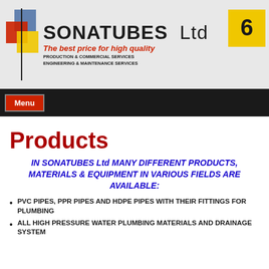[Figure (logo): SONATUBES Ltd company logo with colorful squares, company name, tagline 'The best price for high quality', services text, and yellow circular icon]
Menu
Products
IN SONATUBES Ltd MANY DIFFERENT PRODUCTS, MATERIALS & EQUIPMENT IN VARIOUS FIELDS ARE AVAILABLE:
PVC PIPES, PPR PIPES AND HDPE PIPES WITH THEIR FITTINGS FOR PLUMBING
ALL HIGH PRESSURE WATER PLUMBING MATERIALS AND DRAINAGE SYSTEM